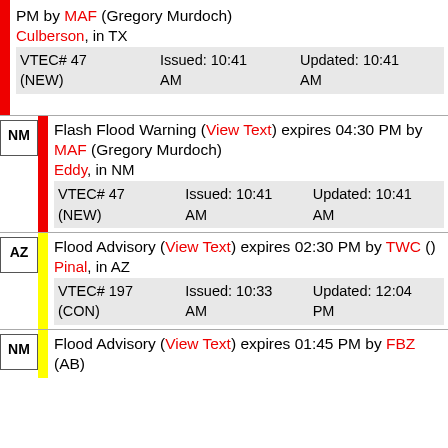PM by MAF (Gregory Murdoch) Culberson, in TX VTEC# 47 (NEW) Issued: 10:41 AM Updated: 10:41 AM
NM Flash Flood Warning (View Text) expires 04:30 PM by MAF (Gregory Murdoch) Eddy, in NM VTEC# 47 (NEW) Issued: 10:41 AM Updated: 10:41 AM
AZ Flood Advisory (View Text) expires 02:30 PM by TWC () Pinal, in AZ VTEC# 197 (CON) Issued: 10:33 AM Updated: 12:04 PM
NM Flood Advisory (View Text) expires 01:45 PM by FBZ (AB)